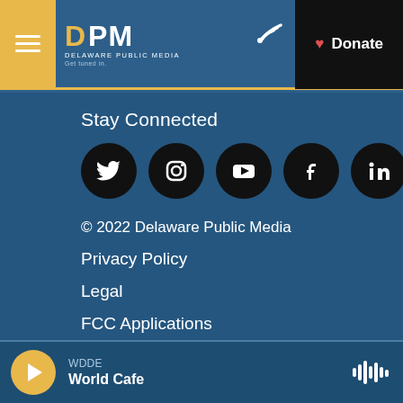DPM Delaware Public Media | Donate
Stay Connected
[Figure (infographic): Social media icons: Twitter, Instagram, YouTube, Facebook, LinkedIn]
© 2022 Delaware Public Media
Privacy Policy
Legal
FCC Applications
Employment & Internships
WDDE | World Cafe